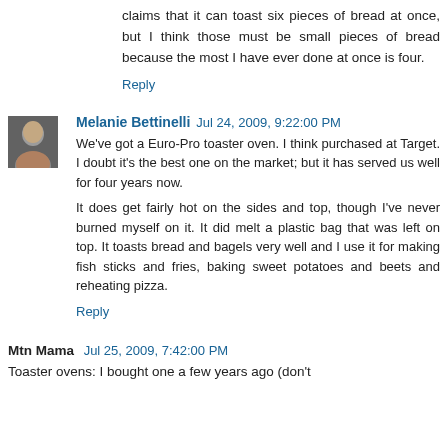claims that it can toast six pieces of bread at once, but I think those must be small pieces of bread because the most I have ever done at once is four.
Reply
Melanie Bettinelli  Jul 24, 2009, 9:22:00 PM
We've got a Euro-Pro toaster oven. I think purchased at Target. I doubt it's the best one on the market; but it has served us well for four years now.
It does get fairly hot on the sides and top, though I've never burned myself on it. It did melt a plastic bag that was left on top. It toasts bread and bagels very well and I use it for making fish sticks and fries, baking sweet potatoes and beets and reheating pizza.
Reply
Mtn Mama  Jul 25, 2009, 7:42:00 PM
Toaster ovens: I bought one a few years ago (don't